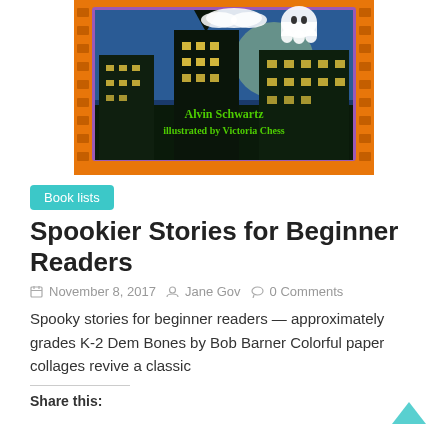[Figure (illustration): Book cover for a spooky Halloween-themed children's book featuring a haunted house silhouette at night with a ghost, orange border with film strip pattern, and green text reading 'Alvin Schwartz illustrated by Victoria Chess']
Book lists
Spookier Stories for Beginner Readers
November 8, 2017  Jane Gov  0 Comments
Spooky stories for beginner readers — approximately grades K-2 Dem Bones by Bob Barner Colorful paper collages revive a classic
Share this: